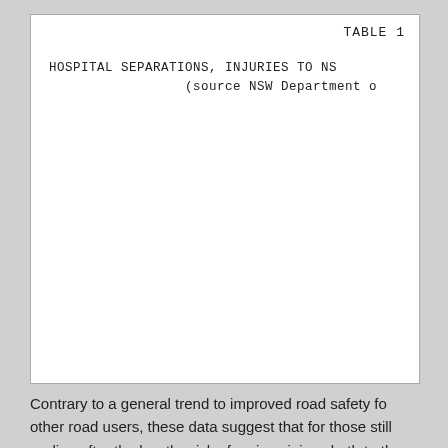TABLE 1
| Year ended 30 June | Head Inj. | Incr. risk | Other inj. |
| --- | --- | --- | --- |
| 1991/91 | 384 |  | 926 |
| ---dashes--- |  |  |  |
| 1991/92 | 272 (246) |  | 815 ( |
| 1992/93 | 273 (219) | +24% | 893 ( |
Contrary to a general trend to improved road safety fo other road users, these data suggest that for those still cycling after the law the risk of serious injury, both to the head and otherwise, increased substantially. Robinson's